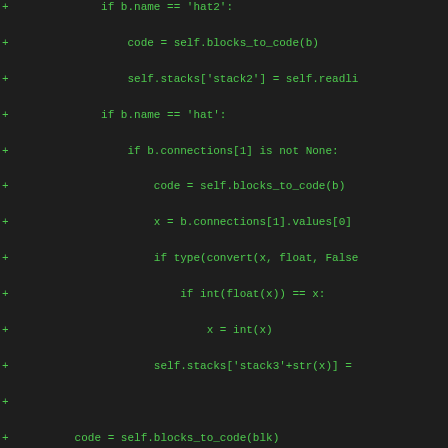[Figure (screenshot): A code diff view showing Python source code additions (lines prefixed with '+') on a dark background with green monospace text. The code shows logic for handling blocks named 'hat2' and 'hat', reading stacks, converting values, and a blocks_to_code method definition.]